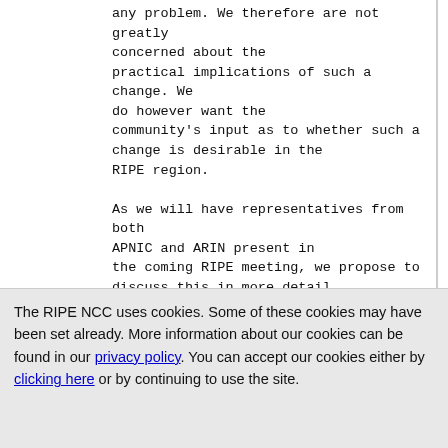any problem. We therefore are not greatly concerned about the practical implications of such a change. We do however want the community's input as to whether such a change is desirable in the RIPE region.

As we will have representatives from both APNIC and ARIN present in the coming RIPE meeting, we propose to discuss this in more detail next week. Statistics and data from our region will be presented together with arguments both for and against such a change.

Kind regards,
Nurani
The RIPE NCC uses cookies. Some of these cookies may have been set already. More information about our cookies can be found in our privacy policy. You can accept our cookies either by clicking here or by continuing to use the site.